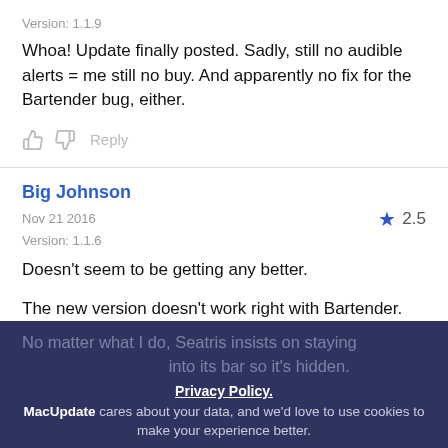Version: 1.1.9
Whoa! Update finally posted. Sadly, still no audible alerts = me still no buy. And apparently no fix for the Bartender bug, either.
Big Johnson
Nov 21 2016  2.5
Version: 1.1.6
Doesn't seem to be getting any better.
The new version doesn't work right with Bartender.
No matter what I do, Seatris insists on staying into its bar so it's hidden.
Privacy Policy.
MacUpdate cares about your data, and we'd love to use cookies to make your experience better.
OK